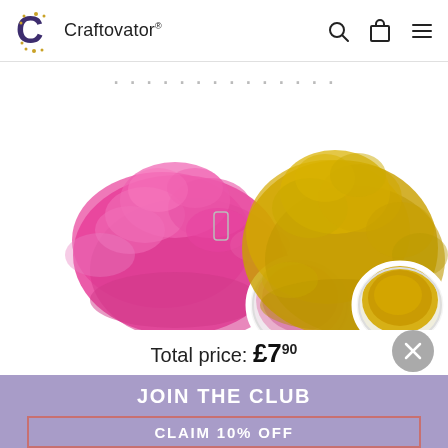Craftovator®
[Figure (photo): Two piles of colored craft powder (pink/magenta on left, yellow/gold on right), each with a small round open container of matching powder in front. White background.]
Total price: £7.90
JOIN THE CLUB
CLAIM 10% OFF